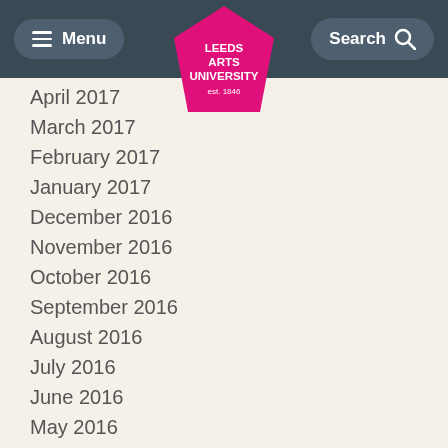Menu | Leeds Arts University est.1846 | Search
April 2017
March 2017
February 2017
January 2017
December 2016
November 2016
October 2016
September 2016
August 2016
July 2016
June 2016
May 2016
April 2016
March 2016
February 2016
January 2016
December 2015